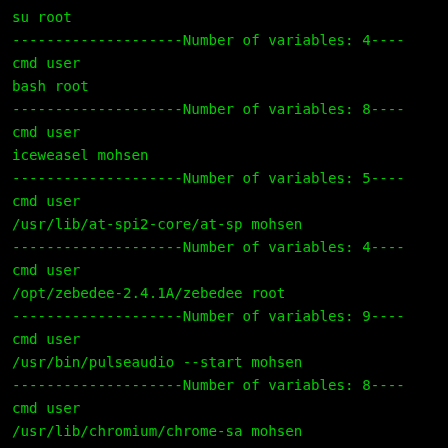su root
--------------------Number of variables: 4----
cmd user
bash root
--------------------Number of variables: 8----
cmd user
iceweasel mohsen
--------------------Number of variables: 5----
cmd user
/usr/lib/at-spi2-core/at-sp mohsen
--------------------Number of variables: 4----
cmd user
/opt/zebedee-2.4.1A/zebedee root
--------------------Number of variables: 9----
cmd user
/usr/bin/pulseaudio --start mohsen
--------------------Number of variables: 8----
cmd user
/usr/lib/chromium/chrome-sa mohsen
--------------------Number of variables: 8----
cmd user
/opt/Telegram/Telegram mohsen